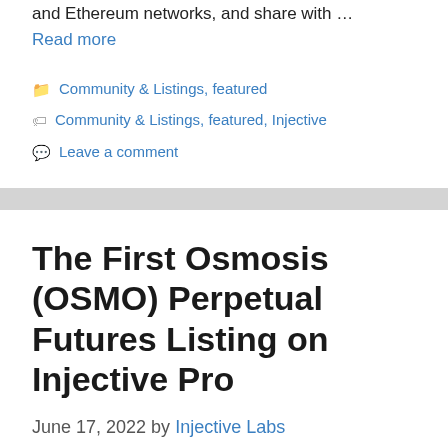and Ethereum networks, and share with …
Read more
Categories: Community & Listings, featured
Tags: Community & Listings, featured, Injective
Leave a comment
The First Osmosis (OSMO) Perpetual Futures Listing on Injective Pro
June 17, 2022 by Injective Labs